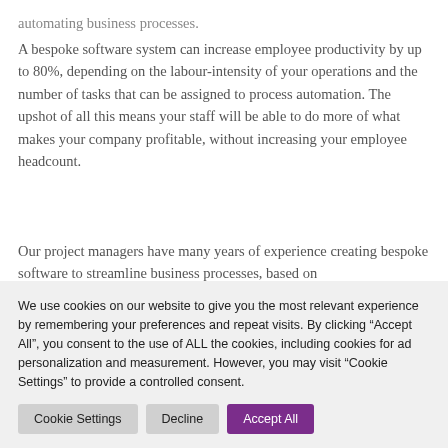automating business processes.
A bespoke software system can increase employee productivity by up to 80%, depending on the labour-intensity of your operations and the number of tasks that can be assigned to process automation. The upshot of all this means your staff will be able to do more of what makes your company profitable, without increasing your employee headcount.
Our project managers have many years of experience creating bespoke software to streamline business processes, based on
We use cookies on our website to give you the most relevant experience by remembering your preferences and repeat visits. By clicking “Accept All”, you consent to the use of ALL the cookies, including cookies for ad personalization and measurement. However, you may visit "Cookie Settings" to provide a controlled consent.